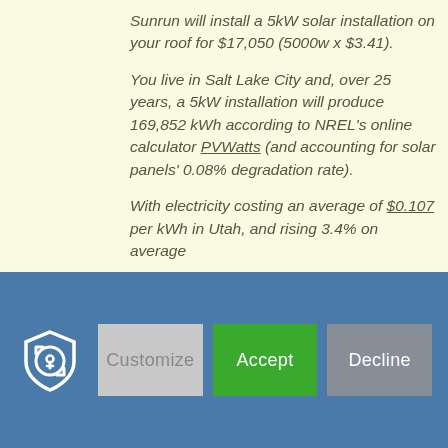Sunrun will install a 5kW solar installation on your roof for $17,050 (5000w x $3.41).
You live in Salt Lake City and, over 25 years, a 5kW installation will produce 169,852 kWh according to NREL's online calculator PVWatts (and accounting for solar panels' 0.08% degradation rate).
With electricity costing an average of $0.107 per kWh in Utah, and rising 3.4% on average
[Figure (other): Cookie consent bar with a shield/key icon on the left, and three buttons: Customize (grey), Accept (green), Decline (grey)]